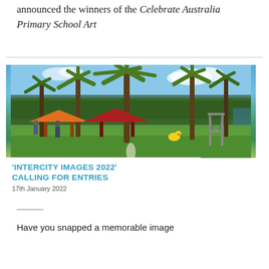announced the winners of the Celebrate Australia Primary School Art
[Figure (photo): Outdoor park scene with tall palm trees, colorful shade structures (orange and red/maroon umbrellas/canopies), green lawn, blue sky with clouds, and playground equipment visible in the background. A white overlay box at the bottom-left contains the article title and date.]
'INTERCITY IMAGES 2022' CALLING FOR ENTRIES
17th January 2022
Have you snapped a memorable image